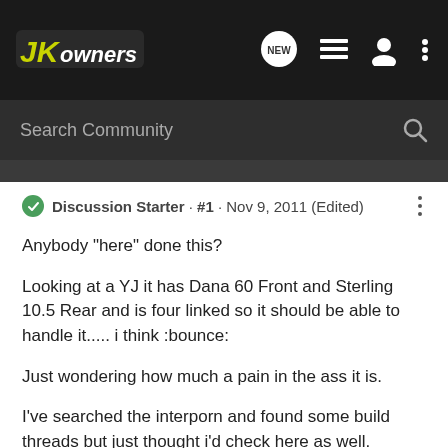JKOwners navigation bar with logo, NEW chat icon, list icon, user icon, menu icon
Search Community
Discussion Starter · #1 · Nov 9, 2011 (Edited)
Anybody "here" done this?

Looking at a YJ it has Dana 60 Front and Sterling 10.5 Rear and is four linked so it should be able to handle it..... i think :bounce:

Just wondering how much a pain in the ass it is.

I've searched the interporn and found some build threads but just thought i'd check here as well.
[Figure (illustration): Small pixelated beer mug emoji/emoticon at bottom of post]